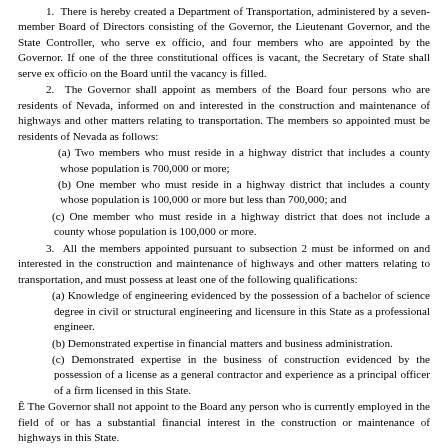1. There is hereby created a Department of Transportation, administered by a seven-member Board of Directors consisting of the Governor, the Lieutenant Governor, and the State Controller, who serve ex officio, and four members who are appointed by the Governor. If one of the three constitutional offices is vacant, the Secretary of State shall serve ex officio on the Board until the vacancy is filled.
2. The Governor shall appoint as members of the Board four persons who are residents of Nevada, informed on and interested in the construction and maintenance of highways and other matters relating to transportation. The members so appointed must be residents of Nevada as follows:
(a) Two members who must reside in a highway district that includes a county whose population is 700,000 or more;
(b) One member who must reside in a highway district that includes a county whose population is 100,000 or more but less than 700,000; and
(c) One member who must reside in a highway district that does not include a county whose population is 100,000 or more.
3. All the members appointed pursuant to subsection 2 must be informed on and interested in the construction and maintenance of highways and other matters relating to transportation, and must possess at least one of the following qualifications:
(a) Knowledge of engineering evidenced by the possession of a bachelor of science degree in civil or structural engineering and licensure in this State as a professional engineer.
(b) Demonstrated expertise in financial matters and business administration.
(c) Demonstrated expertise in the business of construction evidenced by the possession of a license as a general contractor and experience as a principal officer of a firm licensed in this State.
Ê The Governor shall not appoint to the Board any person who is currently employed in the field of or has a substantial financial interest in the construction or maintenance of highways in this State.
4. The Governor shall serve as the Chair of the Board and the members of the Board shall elect annually a Vice Chair.
5. Each member of the Board who is not a public officer is entitled to receive as compensation $80 for each day or portion of a day during which the